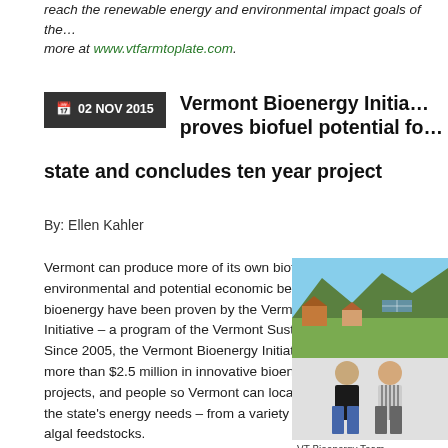reach the renewable energy and environmental impact goals of the… more at www.vtfarmtoplate.com.
02 NOV 2015  Vermont Bioenergy Initiative proves biofuel potential for state and concludes ten year project
By: Ellen Kahler
Vermont can produce more of its own biofuel energy and the environmental and potential economic benefits of local bioenergy have been proven by the Vermont Bioenergy Initiative – a program of the Vermont Sustainable Jobs Fund. Since 2005, the Vermont Bioenergy Initiative has invested more than $2.5 million in innovative bioenergy research, projects, and people so Vermont can locally produce more of the state's energy needs – from a variety of agricultural and algal feedstocks.
[Figure (photo): Photo of VT Bioenergy Team including Shields — Green Mountain and Scott — Ekplott E... Two people standing in front of a painted mural of a Vermont landscape with solar panels and farm buildings.]
VT Bioenergy Team Shields — Green M... Scott — Ekplott E...